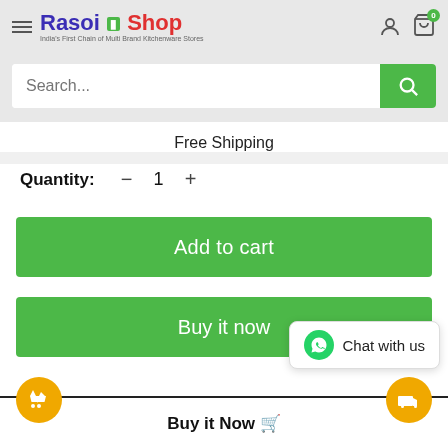[Figure (screenshot): Rasoi Shop e-commerce website header with logo, hamburger menu, user icon, and cart icon with badge showing 0]
Search...
Free Shipping
Quantity: − 1 +
Add to cart
Buy it now
[Figure (infographic): Order process steps with orange circles and connecting line showing shopping cart and delivery icons]
Chat with us
Buy it Now 🛒